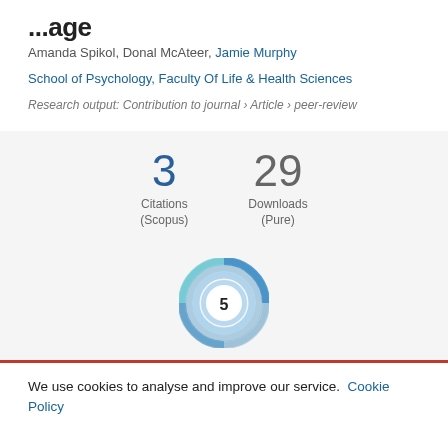...
Amanda Spikol, Donal McAteer, Jamie Murphy
School of Psychology, Faculty Of Life & Health Sciences
Research output: Contribution to journal › Article › peer-review
[Figure (infographic): Metrics display showing 3 Citations (Scopus) and 29 Downloads (Pure)]
[Figure (other): Altmetric donut badge showing score of 5]
We use cookies to analyse and improve our service. Cookie Policy